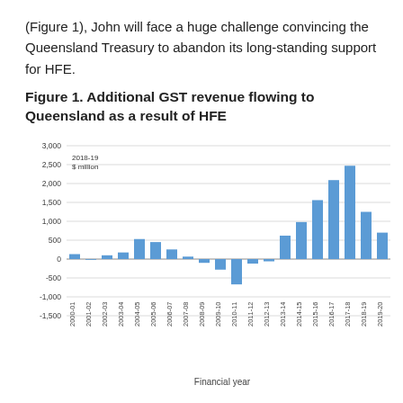(Figure 1), John will face a huge challenge convincing the Queensland Treasury to abandon its long-standing support for HFE.
Figure 1. Additional GST revenue flowing to Queensland as a result of HFE
[Figure (bar-chart): Additional GST revenue flowing to Queensland as a result of HFE]
Financial year